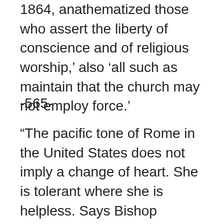1864, anathematized those who assert the liberty of conscience and of religious worship,' also 'all such as maintain that the church may not employ force.'
-565-
“The pacific tone of Rome in the United States does not imply a change of heart. She is tolerant where she is helpless. Says Bishop O’Connor: ‘Religious liberty is merely endured until the opposite can be carried into effect without peril to the Catholic world.’… The archbishop of St. Louis once said: ‘Heresy and unbelief are crimes; and in Christian countries, as in Italy and Spain, for instance, where all the people are Catholics, and where the Catholic religion is an essential part of the